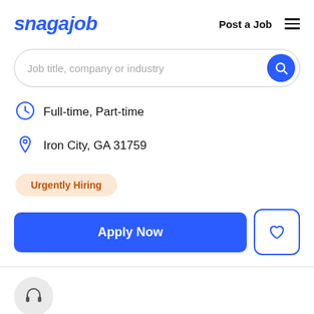snagajob
Post a Job
[Figure (screenshot): Search bar with placeholder text 'Job title, company or industry' and a blue circular search button]
Full-time, Part-time
Iron City, GA 31759
Urgently Hiring
Apply Now
[Figure (illustration): Headphone icon in a gray circle at the bottom of the page]